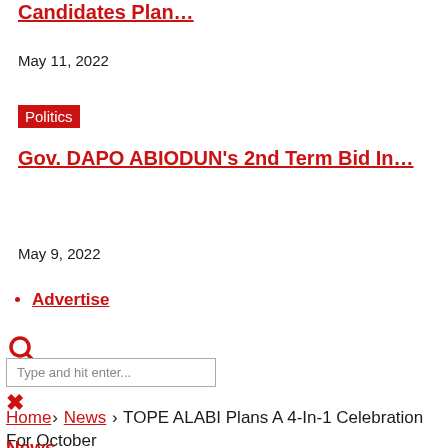Candidates Plan…
May 11, 2022
Politics
Gov. DAPO ABIODUN's 2nd Term Bid In…
May 9, 2022
Advertise
[Figure (other): Search icon (magnifying glass)]
Type and hit enter...
✕
Home › News › TOPE ALABI Plans A 4-In-1 Celebration For October
News